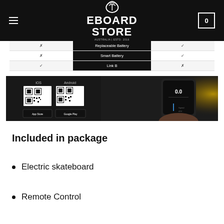EBOARD STORE
| Col1 | Feature | Col2 |
| --- | --- | --- |
| ✗ | Replaceable Battery | ✓ |
| ✗ | Smart Battery | ✓ |
| ✓ | Link B | ✗ |
[Figure (screenshot): App download screenshot showing iOS and Android QR codes and App Store / Google Play buttons, alongside a phone showing a speed display app]
Included in package
Electric skateboard
Remote Control